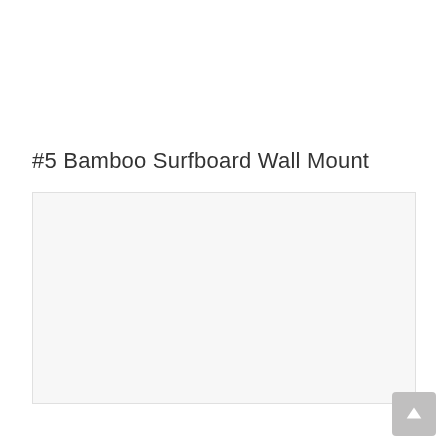#5 Bamboo Surfboard Wall Mount
[Figure (other): Light gray rectangular placeholder image area for the Bamboo Surfboard Wall Mount product]
[Figure (other): Back to top button with upward arrow icon in gray]